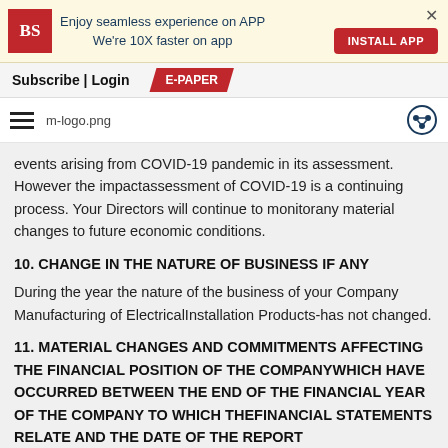[Figure (infographic): Business Standard app banner with BS logo, text 'Enjoy seamless experience on APP We're 10X faster on app', INSTALL APP button, and X close button]
Subscribe | Login   E-PAPER
[Figure (logo): Hamburger menu icon, m-logo.png text, and share/add icon]
events arising from COVID-19 pandemic in its assessment. However the impactassessment of COVID-19 is a continuing process. Your Directors will continue to monitorany material changes to future economic conditions.
10. CHANGE IN THE NATURE OF BUSINESS IF ANY
During the year the nature of the business of your Company Manufacturing of ElectricalInstallation Products-has not changed.
11. MATERIAL CHANGES AND COMMITMENTS AFFECTING THE FINANCIAL POSITION OF THE COMPANYWHICH HAVE OCCURRED BETWEEN THE END OF THE FINANCIAL YEAR OF THE COMPANY TO WHICH THEFINANCIAL STATEMENTS RELATE AND THE DATE OF THE REPORT